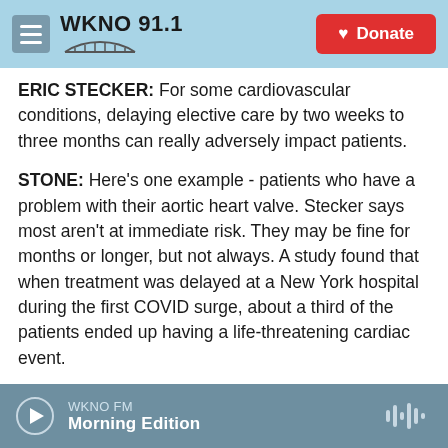WKNO 91.1 | Donate
ERIC STECKER: For some cardiovascular conditions, delaying elective care by two weeks to three months can really adversely impact patients.
STONE: Here's one example - patients who have a problem with their aortic heart valve. Stecker says most aren't at immediate risk. They may be fine for months or longer, but not always. A study found that when treatment was delayed at a New York hospital during the first COVID surge, about a third of the patients ended up having a life-threatening cardiac event.
STECKER: These patients need to be at the top of...
WKNO FM | Morning Edition